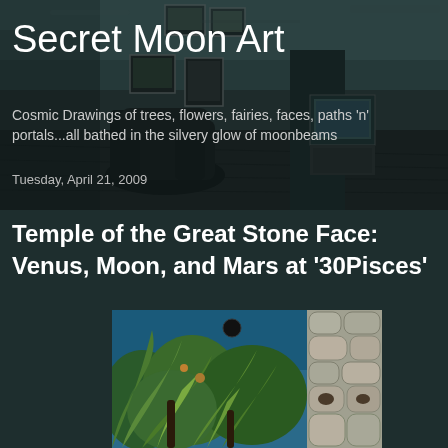[Figure (photo): Dark moody room with framed pictures on walls, a black leather chair, an old television, wooden floor, teal-tinted walls — serves as blog header background image]
Secret Moon Art
Cosmic Drawings of trees, flowers, fairies, faces, paths 'n' portals...all bathed in the silvery glow of moonbeams
Tuesday, April 21, 2009
Temple of the Great Stone Face: Venus, Moon, and Mars at '30Pisces'
[Figure (illustration): Colorful painting showing lush green tropical foliage and plants with a large stone face structure made of rounded stones visible on the right side, blue sky with a dark circular shape at top]